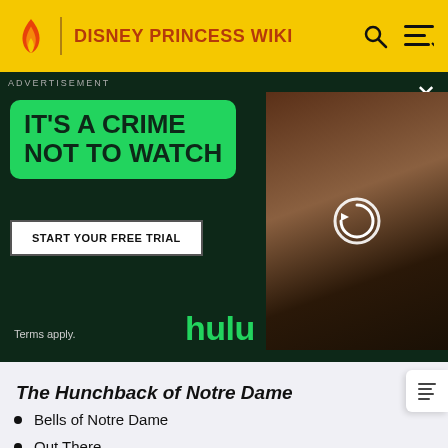DISNEY PRINCESS WIKI
[Figure (screenshot): Hulu advertisement with text 'IT'S A CRIME NOT TO WATCH', 'START YOUR FREE TRIAL' button, 'Terms apply.', 'hulu' branding, and an image of a person in a library setting with a reload/loading icon overlay.]
The Hunchback of Notre Dame
Bells of Notre Dame
Out There
Topsy Turvy
God Help the Outcasts
Hellfire
A Guy Like You
The Court of Miracles